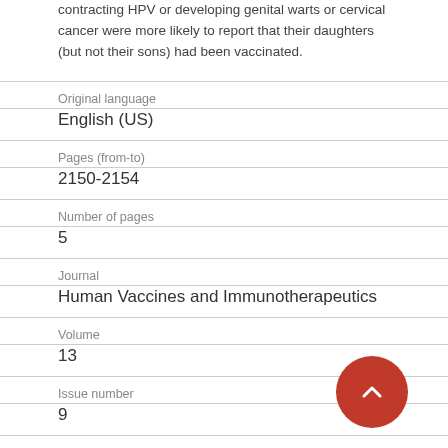contracting HPV or developing genital warts or cervical cancer were more likely to report that their daughters (but not their sons) had been vaccinated.
| Original language | English (US) |
| Pages (from-to) | 2150-2154 |
| Number of pages | 5 |
| Journal | Human Vaccines and Immunotherapeutics |
| Volume | 13 |
| Issue number | 9 |
| State |  |